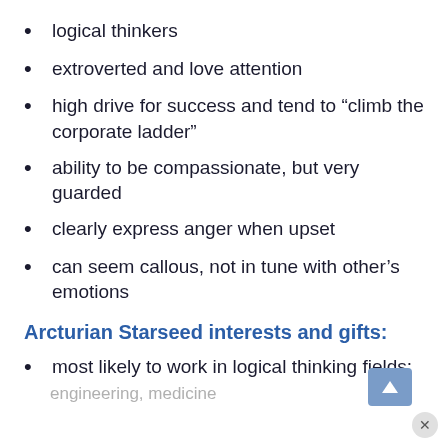logical thinkers
extroverted and love attention
high drive for success and tend to “climb the corporate ladder”
ability to be compassionate, but very guarded
clearly express anger when upset
can seem callous, not in tune with other’s emotions
Arcturian Starseed interests and gifts:
most likely to work in logical thinking fields: science, math, technology, architecture, engineering, medicine